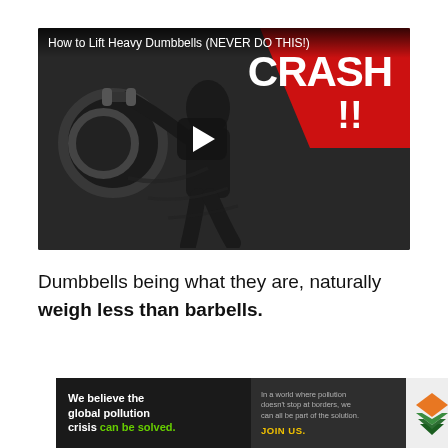[Figure (screenshot): YouTube-style video thumbnail showing a man lifting dumbbells in a dark gym setting with a red 'CRASH!!' banner in the top-right corner and a play button in the center. Video title reads 'How to Lift Heavy Dumbbells (NEVER DO THIS!)']
Dumbbells being what they are, naturally weigh less than barbells.
[Figure (infographic): Pure Earth advertisement banner. Left dark section says 'We believe the global pollution crisis can be solved.' in white with 'can be solved.' in green. Middle dark section says 'In a world where pollution doesn't stop at borders, we can all be part of the solution.' with 'JOIN US.' in yellow. Right light section shows Pure Earth logo (diamond/arrow shape) and text 'PURE EARTH' in bold.]